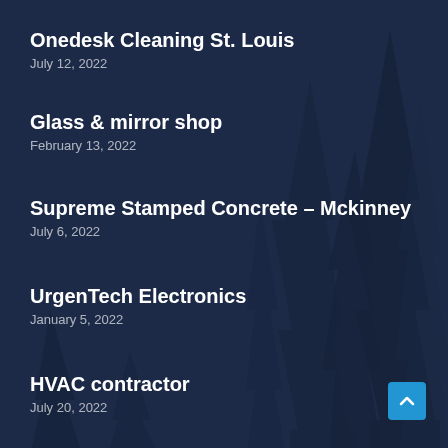Onedesk Cleaning St. Louis
July 12, 2022
Glass & mirror shop
February 13, 2022
Supreme Stamped Concrete – Mckinney
July 6, 2022
UrgenTech Electronics
January 5, 2022
HVAC contractor
July 20, 2022